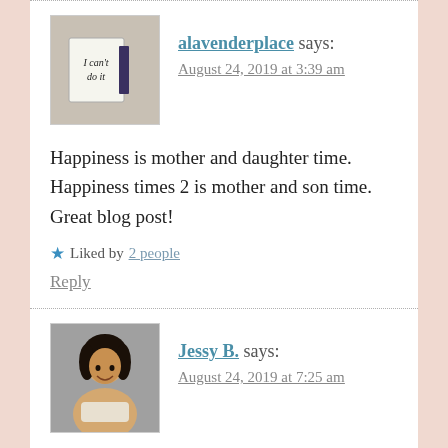alavenderplace says:
August 24, 2019 at 3:39 am
Happiness is mother and daughter time. Happiness times 2 is mother and son time. Great blog post!
Liked by 2 people
Reply
Jessy B. says:
August 24, 2019 at 7:25 am
I couldn’t agree more! Being mom of two daughters and a son, happiness is time well spent